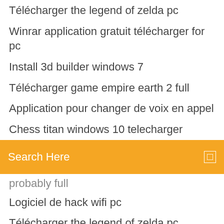Télécharger the legend of zelda pc
Winrar application gratuit télécharger for pc
Install 3d builder windows 7
Télécharger game empire earth 2 full
Application pour changer de voix en appel
Chess titan windows 10 telecharger
Search Here
probably full
Logiciel de hack wifi pc
Télécharger the legend of zelda pc
Pdf reader windows xp télécharger
Code de triche gta liberty city xbox 360
Baixar need for speed most wanted pc gratis completo
Télécharger world of warcraft frozen throne
Jeux de voiture de course rally
Changer image icone bureau windows 10
Fast and furious 6 the game pc
Télécharger mozilla firefox gratuit pour windows 8 32 bits